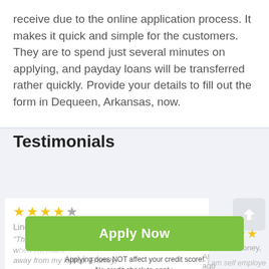receive due to the online application process. It makes it quick and simple for the customers. They are to spend just several minutes on applying, and payday loans will be transferred rather quickly. Provide your details to fill out the form in Dequeen, Arkansas, now.
Testimonials
Linda of Palm Desert, CA review 6 days ago
"This service is really fast! I've got funds on the card when I'm miles away from my laptop. Frankly,
Marcus of Toney, Al ago
" I am self employed trying to establish a with you so when
Apply Now
Applying does NOT affect your credit score!
No credit check to apply.